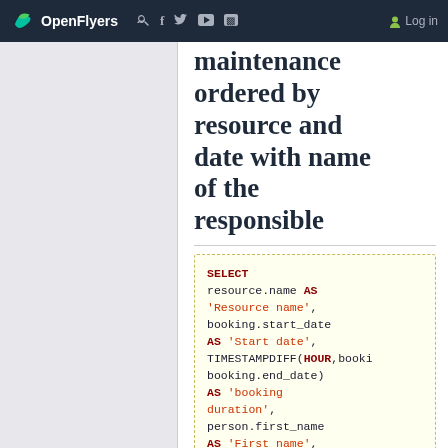OpenFlyers  Log in
maintenance ordered by resource and date with name of the responsible
SELECT
resource.name AS 'Resource name',
booking.start_date AS 'Start date',
TIMESTAMPDIFF(HOUR, booking.end_date) AS 'booking duration',
person.first_name AS 'First name',
person.last_name AS 'Last name'